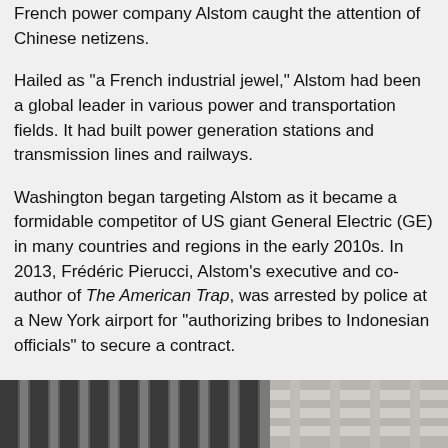French power company Alstom caught the attention of Chinese netizens.
Hailed as "a French industrial jewel," Alstom had been a global leader in various power and transportation fields. It had built power generation stations and transmission lines and railways.
Washington began targeting Alstom as it became a formidable competitor of US giant General Electric (GE) in many countries and regions in the early 2010s. In 2013, Frédéric Pierucci, Alstom's executive and co-author of The American Trap, was arrested by police at a New York airport for "authorizing bribes to Indonesian officials" to secure a contract.
Pierucci wrote in his book that his lawyer had been offered a plea bargain: admit his guilt and be free within months or "risk up to 125 years in jail," the BBC reported in April 2019.
[Figure (photo): Two side-by-side photographs: left image shows a building with vertical architectural elements in dark tones; right image shows a lighter colored building facade.]